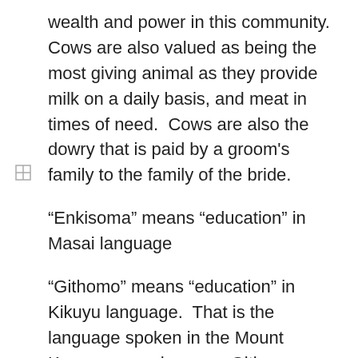wealth and power in this community. Cows are also valued as being the most giving animal as they provide milk on a daily basis, and meat in times of need.  Cows are also the dowry that is paid by a groom's family to the family of the bride.
“Enkisoma” means “education” in Masai language
“Githomo” means “education” in Kikuyu language.  That is the language spoken in the Mount Kenya area, where our Githomo program is located.
“Magoto” means “natural fiber” in the Kikuyu language.  Natural fiber such as banana tree bark, sisal, grass, twigs, corn husks etc.